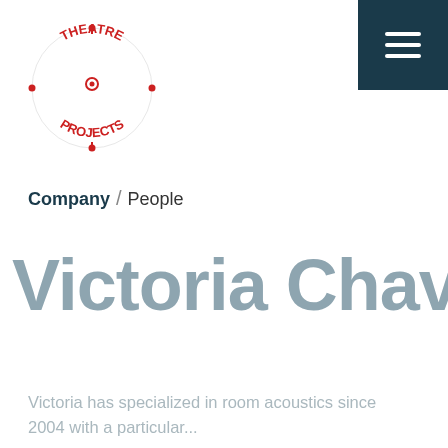[Figure (logo): Theatre Projects circular logo with red dotted ring text and red decorative elements]
Company / People
Victoria Chavez
Victoria has specialized in room acoustics since 2004 with a particular...